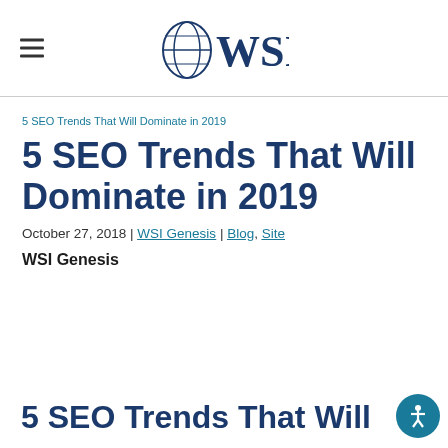WSI
5 SEO Trends That Will Dominate in 2019
5 SEO Trends That Will Dominate in 2019
October 27, 2018 | WSI Genesis | Blog, Site
WSI Genesis
5 SEO Trends That Will